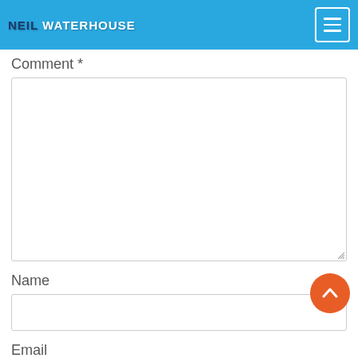NEIL WATERHOUSE
Comment *
Name
Email